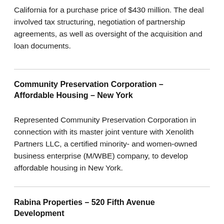California for a purchase price of $430 million. The deal involved tax structuring, negotiation of partnership agreements, as well as oversight of the acquisition and loan documents.
Community Preservation Corporation – Affordable Housing – New York
Represented Community Preservation Corporation in connection with its master joint venture with Xenolith Partners LLC, a certified minority- and women-owned business enterprise (M/WBE) company, to develop affordable housing in New York.
Rabina Properties – 520 Fifth Avenue Development